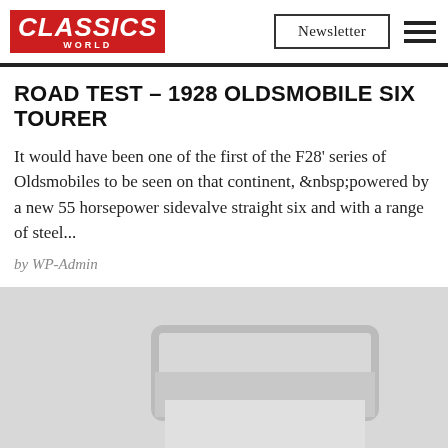CLASSICS WORLD | Newsletter
ROAD TEST – 1928 OLDSMOBILE SIX TOURER
It would have been one of the first of the F28' series of Oldsmobiles to be seen on that continent, &nbsp;powered by a new 55 horsepower sidevalve straight six and with a range of steel...
by WP-Admin
[Figure (photo): Placeholder image for the 1928 Oldsmobile Six Tourer article photo]